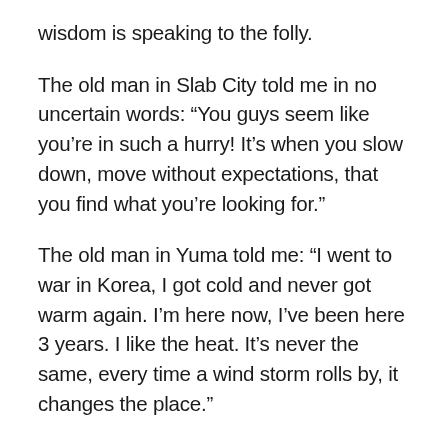wisdom is speaking to the folly.
The old man in Slab City told me in no uncertain words: “You guys seem like you’re in such a hurry! It’s when you slow down, move without expectations, that you find what you’re looking for.”
The old man in Yuma told me: “I went to war in Korea, I got cold and never got warm again. I’m here now, I’ve been here 3 years. I like the heat. It’s never the same, every time a wind storm rolls by, it changes the place.”
Here I am, 5 hours later, sitting in the back of a 20 year old van, wiping the soft, light, yellow sand of the sand dunes out of my eye. Late in the night on an open field. Emily wrote to No Trespassing signs 10 feet from